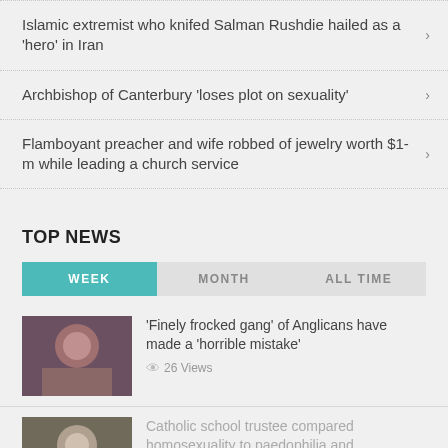Islamic extremist who knifed Salman Rushdie hailed as a 'hero' in Iran
Archbishop of Canterbury 'loses plot on sexuality'
Flamboyant preacher and wife robbed of jewelry worth $1-m while leading a church service
TOP NEWS
WEEK | MONTH | ALL TIME
'Finely frocked gang' of Anglicans have made a 'horrible mistake' — 26 Views
Catholic school trustee compared homosexuality to paedophilia and cannibalism